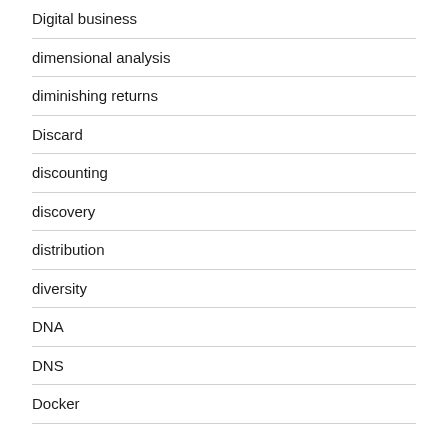Digital business
dimensional analysis
diminishing returns
Discard
discounting
discovery
distribution
diversity
DNA
DNS
Docker